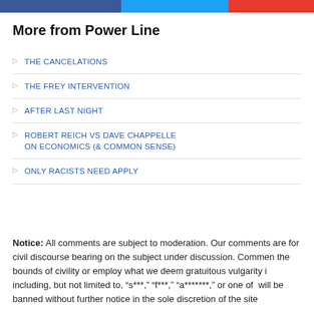[Figure (other): Top bar with three colored sections: blue (Facebook), light blue (Twitter), red (another social platform)]
More from Power Line
THE CANCELATIONS
THE FREY INTERVENTION
AFTER LAST NIGHT
ROBERT REICH VS DAVE CHAPPELLE ON ECONOMICS (& COMMON SENSE)
ONLY RACISTS NEED APPLY
Notice: All comments are subject to moderation. Our comments are for civil discourse bearing on the subject under discussion. Commen the bounds of civility or employ what we deem gratuitous vulgarity i including, but not limited to, “s***,” “f***,” “a*******,” or one of  will be banned without further notice in the sole discretion of the site